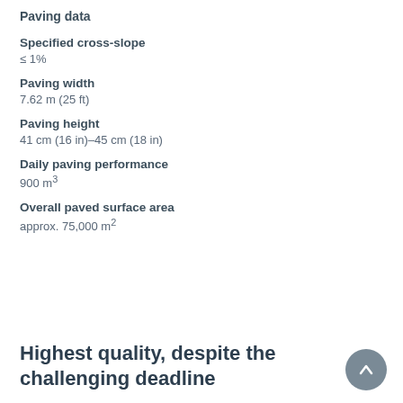Paving data
Specified cross-slope
≤ 1%
Paving width
7.62 m (25 ft)
Paving height
41 cm (16 in)–45 cm (18 in)
Daily paving performance
900 m³
Overall paved surface area
approx. 75,000 m²
Highest quality, despite the challenging deadline